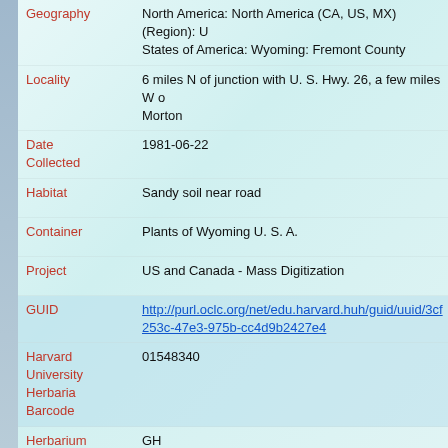| Field | Value |
| --- | --- |
| Geography | North America: North America (CA, US, MX) (Region): United States of America: Wyoming: Fremont County |
| Locality | 6 miles N of junction with U. S. Hwy. 26, a few miles W of Morton |
| Date Collected | 1981-06-22 |
| Habitat | Sandy soil near road |
| Container | Plants of Wyoming U. S. A. |
| Project | US and Canada - Mass Digitization |
| GUID | http://purl.oclc.org/net/edu.harvard.huh/guid/uuid/3cf…253c-47e3-975b-cc4d9b2427e4 |
| Harvard University Herbaria Barcode | 01548340 |
| Herbarium | GH |
| Family | Brassicaceae |
| Determination | Lepidium densiflorum var. macrocarpum G. A. Mullig… |
| Determination Remarks | [is filed under name] [is Current name] |
| Sex | not determined |
| Phenology | NotDetermined |